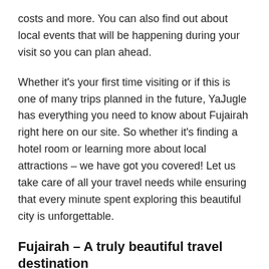costs and more. You can also find out about local events that will be happening during your visit so you can plan ahead.
Whether it's your first time visiting or if this is one of many trips planned in the future, YaJugle has everything you need to know about Fujairah right here on our site. So whether it's finding a hotel room or learning more about local attractions – we have got you covered! Let us take care of all your travel needs while ensuring that every minute spent exploring this beautiful city is unforgettable.
Fujairah – A truly beautiful travel destination
Fujairah is one of the seven emirates that make up the United Arab Emirates. It's known for its beautiful beaches, clear blue water and laid-back atmosphere. The city has